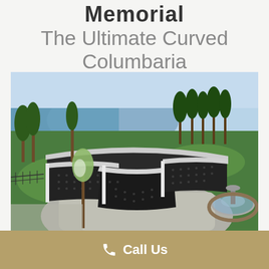Memorial
The Ultimate Curved Columbaria
[Figure (photo): Aerial view of a curved columbarium structure in a landscaped cemetery setting, with trees, a lake in the background, green lawns, a fountain, and stone-faced walls with burial niches.]
Call Us